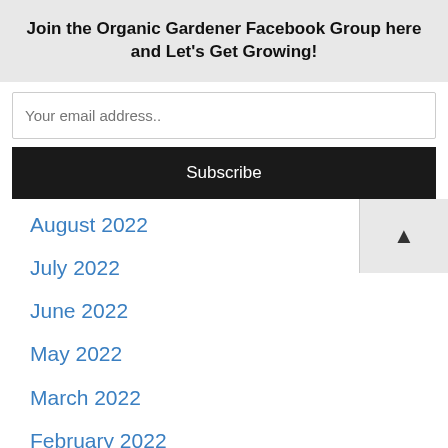Join the Organic Gardener Facebook Group here and Let's Get Growing!
August 2022
July 2022
June 2022
May 2022
March 2022
February 2022
January 2022
December 2021
November 2021
October 2021